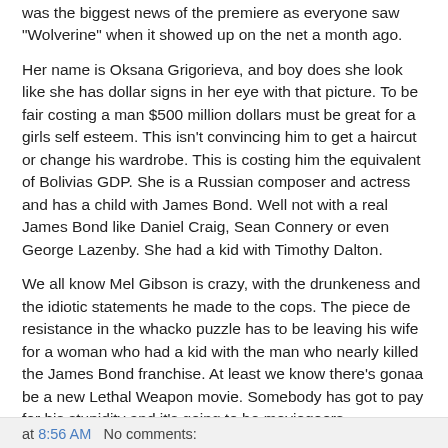was the biggest news of the premiere as everyone saw "Wolverine" when it showed up on the net a month ago.
Her name is Oksana Grigorieva, and boy does she look like she has dollar signs in her eye with that picture. To be fair costing a man $500 million dollars must be great for a girls self esteem. This isn't convincing him to get a haircut or change his wardrobe. This is costing him the equivalent of Bolivias GDP. She is a Russian composer and actress and has a child with James Bond. Well not with a real James Bond like Daniel Craig, Sean Connery or even George Lazenby. She had a kid with Timothy Dalton.
We all know Mel Gibson is crazy, with the drunkeness and the idiotic statements he made to the cops. The piece de resistance in the whacko puzzle has to be leaving his wife for a woman who had a kid with the man who nearly killed the James Bond franchise. At least we know there's gonaa be a new Lethal Weapon movie. Somebody has got to pay for his stupidity and it's going to be moviegoers.
at 8:56 AM   No comments: